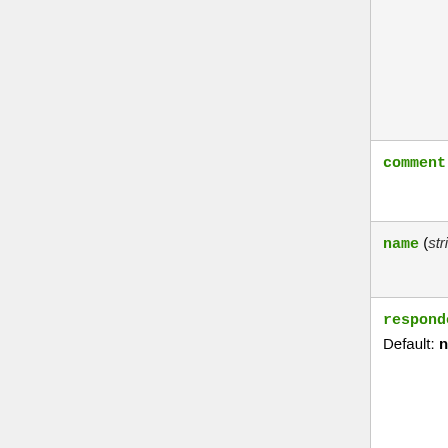| Property | Description |
| --- | --- |
| (continuation) assigned address from the pool. |  |
| comment (string; Default: ) |  |
| name (string; Default: ) |  |
| responder (yes | no; Default: no) | Specifies whether the configuration will work as an initiator (client) or responder (server). Initiator will request for mode-config parameters from responder. |
| split-include (list of IP prefix; Default: ) | List of subnets in CIDR format, which to tunnel. Subnets will be sent to the peer... |